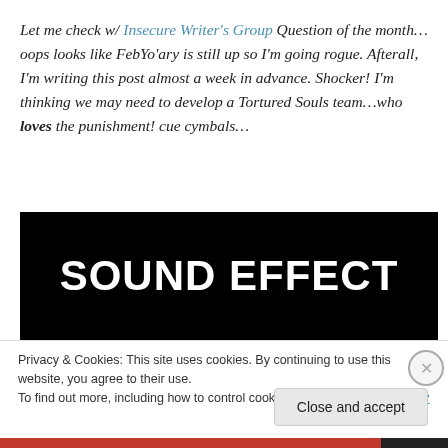Let me check w/ Insecure Writer's Group Question of the month…oops looks like FebYo'ary is still up so I'm going rogue. Afterall, I'm writing this post almost a week in advance. Shocker! I'm thinking we may need to develop a Tortured Souls team…who loves the punishment! cue cymbals…
[Figure (screenshot): Black rectangle with large white bold text reading 'SOUND EFFECT']
Privacy & Cookies: This site uses cookies. By continuing to use this website, you agree to their use.
To find out more, including how to control cookies, see here: Cookie Policy